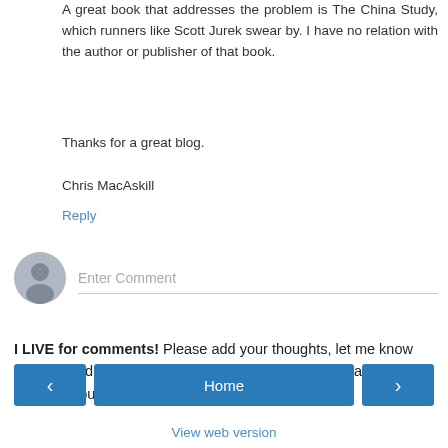A great book that addresses the problem is The China Study, which runners like Scott Jurek swear by. I have no relation with the author or publisher of that book.
Thanks for a great blog.
Chris MacAskill
Reply
[Figure (other): User avatar placeholder circle with person silhouette icon, next to an 'Enter Comment' input field with a bottom border]
I LIVE for comments! Please add your thoughts, let me know you stopped by, etc., and be thoughtful of others. Always best if you sign your name, of course.
< Home >
View web version